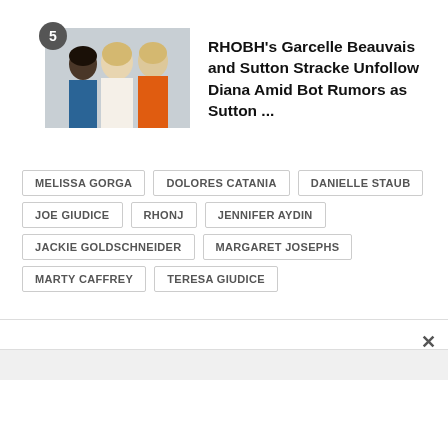[Figure (photo): Photo of three women smiling, one wearing orange blazer, with number badge '5' overlay]
RHOBH's Garcelle Beauvais and Sutton Stracke Unfollow Diana Amid Bot Rumors as Sutton ...
MELISSA GORGA
DOLORES CATANIA
DANIELLE STAUB
JOE GIUDICE
RHONJ
JENNIFER AYDIN
JACKIE GOLDSCHNEIDER
MARGARET JOSEPHS
MARTY CAFFREY
TERESA GIUDICE